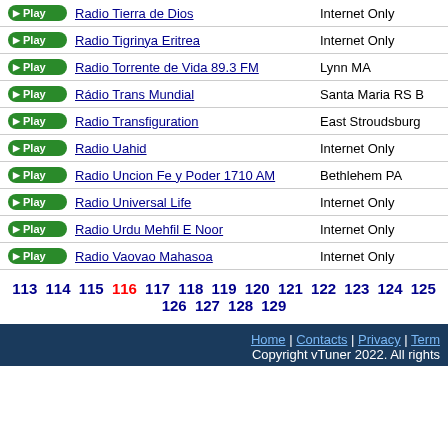Radio Tierra de Dios — Internet Only
Radio Tigrinya Eritrea — Internet Only
Radio Torrente de Vida 89.3 FM — Lynn MA
Rádio Trans Mundial — Santa Maria RS B
Radio Transfiguration — East Stroudsburg
Radio Uahid — Internet Only
Radio Uncion Fe y Poder 1710 AM — Bethlehem PA
Radio Universal Life — Internet Only
Radio Urdu Mehfil E Noor — Internet Only
Radio Vaovao Mahasoa — Internet Only
113 114 115 116 117 118 119 120 121 122 123 124 125 126 127 128 129
Home | Contacts | Privacy | Term — Copyright vTuner 2022. All rights